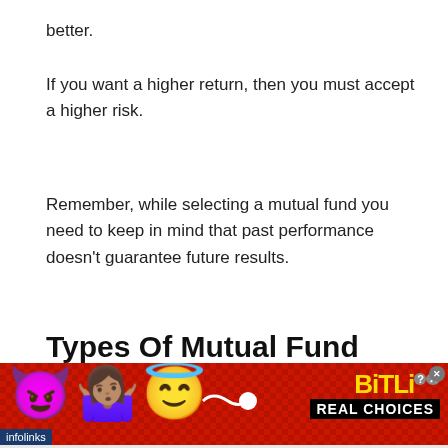better.
If you want a higher return, then you must accept a higher risk.
Remember, while selecting a mutual fund you need to keep in mind that past performance doesn't guarantee future results.
Types Of Mutual Fund
[Figure (other): Infolinks advertisement banner for BitLife mobile game featuring emoji characters (devil, person shrugging, angel) on a red background with yellow BitLife logo and black 'REAL CHOICES' text]